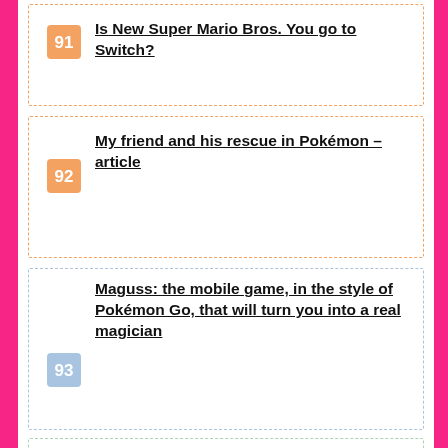91 Is New Super Mario Bros. You go to Switch?
92 My friend and his rescue in Pokémon – article
93 Maguss: the mobile game, in the style of Pokémon Go, that will turn you into a real magician
94 Pokémon GO is not among the most popular mobile games of the decade